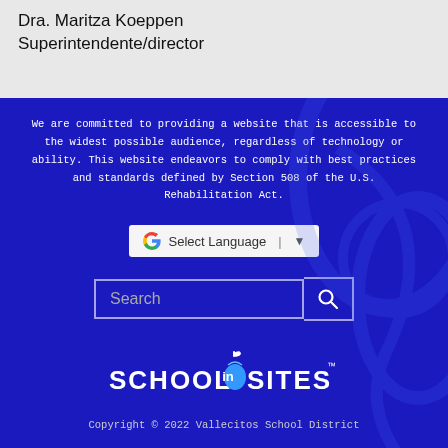¡Gracias!
Dra. Maritza Koeppen
Superintendente/director
We are committed to providing a website that is accessible to the widest possible audience, regardless of technology or ability. This website endeavors to comply with best practices and standards defined by Section 508 of the U.S. Rehabilitation Act.
[Figure (other): Google Translate language selector widget with 'Select Language' text and dropdown arrow]
[Figure (other): Search input box with search button icon]
[Figure (logo): School In Sites logo with apple icon]
Copyright © 2022 Vallecitos School District